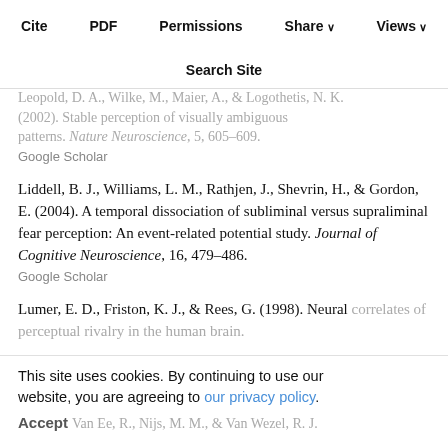Cite | PDF | Permissions | Share | Views | Search Site
Leopold, D. A., Wilke, M., Maier, A., & Logothetis, N. K. (2002). Stable perception of visually ambiguous patterns. Nature Neuroscience, 5, 605–609.
Google Scholar
Liddell, B. J., Williams, L. M., Rathjen, J., Shevrin, H., & Gordon, E. (2004). A temporal dissociation of subliminal versus supraliminal fear perception: An event-related potential study. Journal of Cognitive Neuroscience, 16, 479–486.
Google Scholar
Lumer, E. D., Friston, K. J., & Rees, G. (1998). Neural correlates of perceptual rivalry in the human brain.
This site uses cookies. By continuing to use our website, you are agreeing to our privacy policy. Accept
Noest, Van Ee, R., Nijs, M. M., & Van Wezel, R. J.